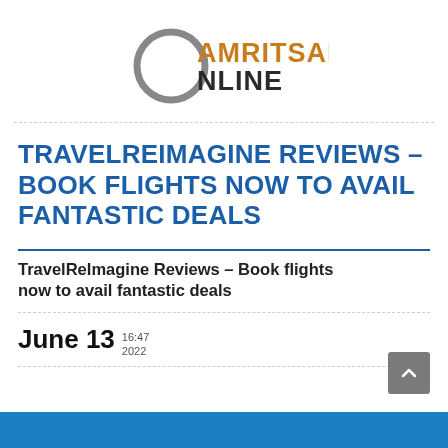[Figure (logo): Amritsar Online logo: a grey circle/ring on the left, with 'AMRITSAR' in orange/gold bold uppercase and 'NLINE' in dark grey bold uppercase forming 'ONLINE']
TRAVELREIMAGINE REVIEWS – BOOK FLIGHTS NOW TO AVAIL FANTASTIC DEALS
TravelReImagine Reviews – Book flights now to avail fantastic deals
June 13  16:47 2022